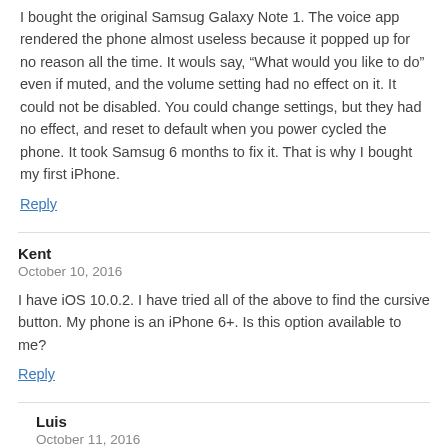I bought the original Samsug Galaxy Note 1. The voice app rendered the phone almost useless because it popped up for no reason all the time. It wouls say, “What would you like to do” even if muted, and the volume setting had no effect on it. It could not be disabled. You could change settings, but they had no effect, and reset to default when you power cycled the phone. It took Samsug 6 months to fix it. That is why I bought my first iPhone.
Reply
Kent
October 10, 2016
I have iOS 10.0.2. I have tried all of the above to find the cursive button. My phone is an iPhone 6+. Is this option available to me?
Reply
Luis
October 11, 2016